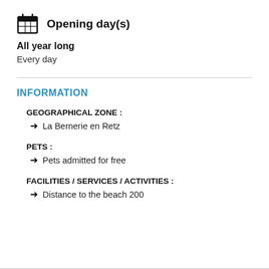Opening day(s)
All year long
Every day
INFORMATION
GEOGRAPHICAL ZONE :
La Bernerie en Retz
PETS :
Pets admitted for free
FACILITIES / SERVICES / ACTIVITIES :
Distance to the beach 200